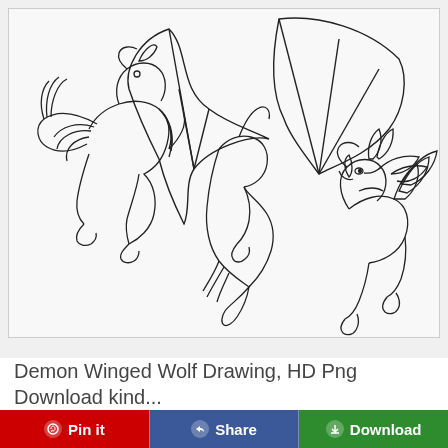[Figure (illustration): Line art drawing of two fantasy winged wolf/demon creatures on a light gray background. The left creature is a wolf with large feathered wings standing upright. The center shows large bat-like wings spreading across the background. The right creature is a wolf-like demon with spiked fins/wings on its head and back, in a prowling stance. All artwork is in black outline style on white/light background.]
Demon Winged Wolf Drawing, HD Png Download kind...
Pin it   Share   Download